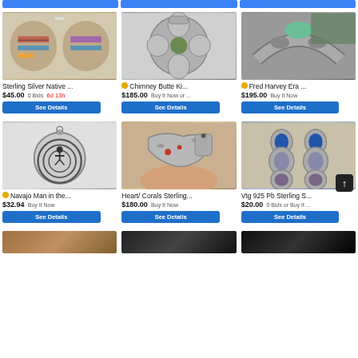[Figure (screenshot): eBay product listing grid showing 6 Native American sterling silver jewelry items with photos, titles, prices, and See Details buttons]
Sterling Silver Native ... $45.00 0 Bids 6d 13h
Chimney Butte Ki... $185.00 Buy It Now or ...
Fred Harvey Era ... $195.00 Buy It Now
Navajo Man in the... $32.94 Buy It Now
Heart/ Corals Sterling... $180.00 Buy It Now
Vtg 925 Pb Sterling S... $20.00 0 Bids or Buy It ...